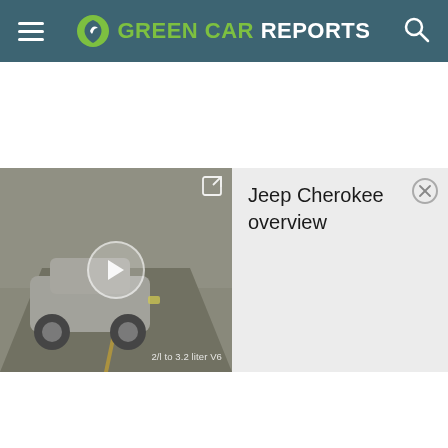GREEN CAR REPORTS
Green Car Reports Comment Policy
How and why we moderate
[Figure (screenshot): Video thumbnail of a Jeep Cherokee driving on a misty road with a play button overlay and caption '2/l to 3.2 liter V6']
Jeep Cherokee overview